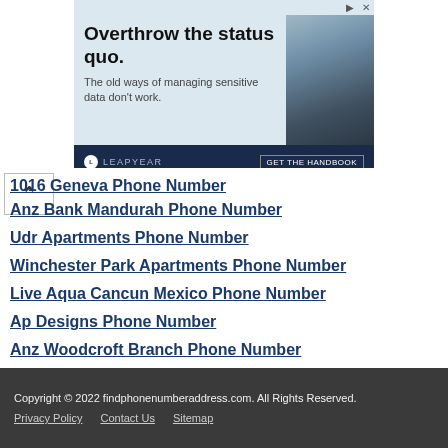[Figure (other): Advertisement banner for Leapyear: 'Overthrow the status quo. The old ways of managing sensitive data don't work.' with GET THE HANDBOOK CTA]
1016 Geneva Phone Number
Anz Bank Mandurah Phone Number
Udr Apartments Phone Number
Winchester Park Apartments Phone Number
Live Aqua Cancun Mexico Phone Number
Ap Designs Phone Number
Anz Woodcroft Branch Phone Number
Anz Mildura Phone Number
La Ventana Apartments Abilene Tx Phone Number
Sponsered Ads
Copyright © 2022 findphonenumberaddress.com. All Rights Reserved.
Privacy Policy   Contact Us   Sitemap